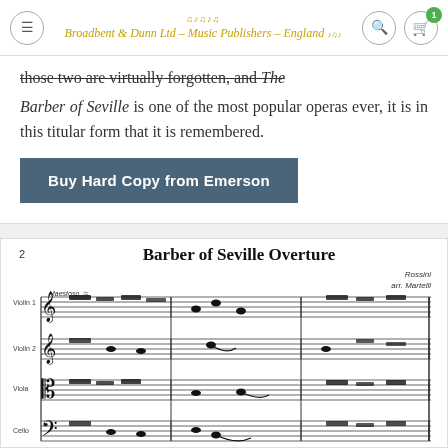Broadbent & Dunn Ltd – Music Publishers – England
those two are virtually forgotten, and The Barber of Seville is one of the most popular operas ever, it is in this titular form that it is remembered.
Buy Hard Copy from Emerson
[Figure (illustration): Sheet music preview showing first page of Barber of Seville Overture arranged for string quartet (Violin 1, Violin 2, Viola, Cello), marked Maestoso, with treble and bass clef staves.]